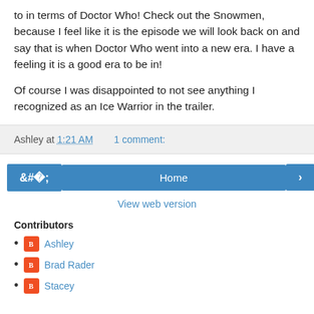to in terms of Doctor Who!  Check out the Snowmen, because I feel like it is the episode we will look back on and say that is when Doctor Who went into a new era.  I have a feeling it is a good era to be in!
Of course I was disappointed to not see anything I recognized as an Ice Warrior in the trailer.
Ashley at 1:21 AM    1 comment:
[Figure (screenshot): Navigation bar with left arrow button, Home button, and right arrow button]
View web version
Contributors
Ashley
Brad Rader
Stacey